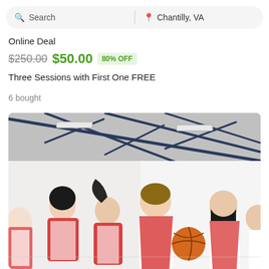Search | Chantilly, VA
Online Deal
$250.00 $50.00 80% OFF
Three Sessions with First One FREE
6 bought
[Figure (photo): Children in red pinnies playing basketball in a gymnasium. A boy in the center holds a basketball. Several girls run alongside him. The gym has a metal truss ceiling with fluorescent lighting.]